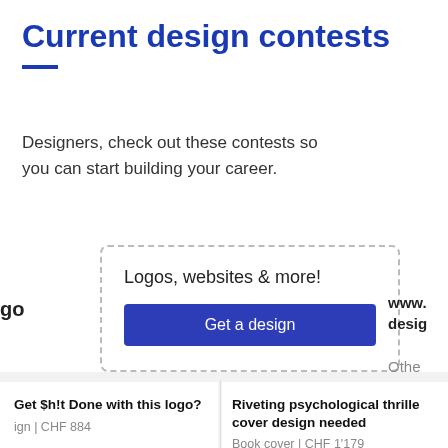Current design contests
Designers, check out these contests so you can start building your career.
[Figure (screenshot): Popup modal with dashed border containing text 'Logos, websites & more!' and a blue 'Get a design' button]
go
www. desig
Othe
Get $h!t Done with this logo?
ign | CHF 884
Riveting psychological thrille cover design needed
Book cover | CHF 1'179